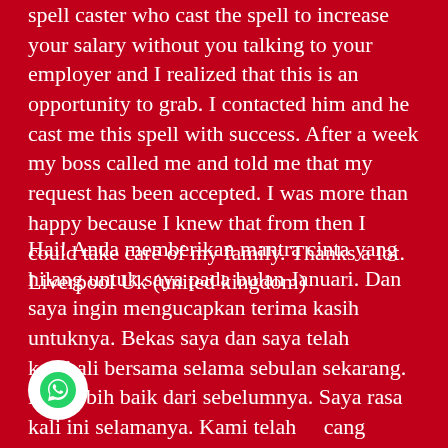spell caster who cast the spell to increase your salary without you talking to your employer and I realized that this is an opportunity to grab. I contacted him and he cast me this spell with success. After a week my boss called me and told me that my request has been accepted. I was more than happy because I knew that from then I could take care of my family. Thanks a lot. Liverpool Uk (united kingdom)
Hai! Anda memberikan mantra cinta yang hilang untuk saya pada bulan Januari. Dan saya ingin mengucapkan terima kasih untuknya. Bekas saya dan saya telah kembali bersama selama sebulan sekarang. Dan lebih baik dari sebelumnya. Saya rasa kali ini selamanya. Kami telah ...cang untuk berpindah bersama, dan mungkin akan berkahwin pada masa akan datang. Perkara di antara kami
[Figure (illustration): WhatsApp button - white circle with green WhatsApp phone icon]